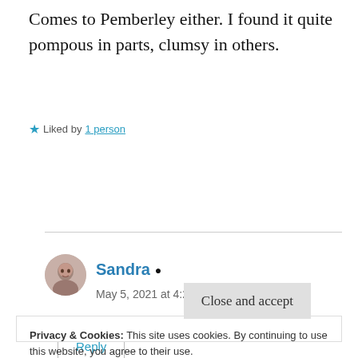Comes to Pemberley either. I found it quite pompous in parts, clumsy in others.
★ Liked by 1 person
Reply
Sandra 🧍 May 5, 2021 at 4:23 pm
Privacy & Cookies: This site uses cookies. By continuing to use this website, you agree to their use.
To find out more, including how to control cookies, see here: Cookie Policy
Close and accept